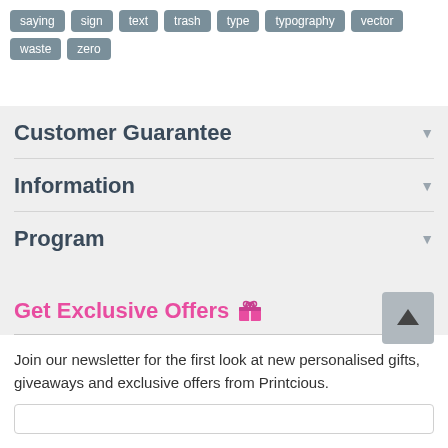saying
sign
text
trash
type
typography
vector
waste
zero
Customer Guarantee
Information
Program
Get Exclusive Offers 🎁
Join our newsletter for the first look at new personalised gifts, giveaways and exclusive offers from Printcious.